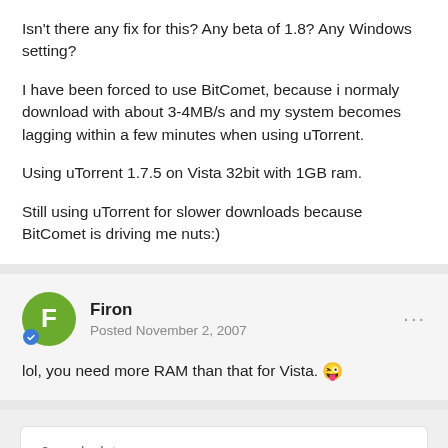Isn't there any fix for this? Any beta of 1.8? Any Windows setting?
I have been forced to use BitComet, because i normaly download with about 3-4MB/s and my system becomes lagging within a few minutes when using uTorrent.
Using uTorrent 1.7.5 on Vista 32bit with 1GB ram.
Still using uTorrent for slower downloads because BitComet is driving me nuts:)
Firon
Posted November 2, 2007
lol, you need more RAM than that for Vista. 😜
2 weeks later...